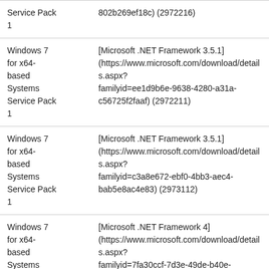| Platform | Update |
| --- | --- |
| Service Pack 1 | 802b269ef18c) (2972216) |
| Windows 7 for x64-based Systems Service Pack 1 | [Microsoft .NET Framework 3.5.1] (https://www.microsoft.com/download/details.aspx?familyid=ee1d9b6e-9638-4280-a31a-c56725f2faaf) (2972211) |
| Windows 7 for x64-based Systems Service Pack 1 | [Microsoft .NET Framework 3.5.1] (https://www.microsoft.com/download/details.aspx?familyid=c3a8e672-ebf0-4bb3-aec4-bab5e8ac4e83) (2973112) |
| Windows 7 for x64-based Systems Service Pack | [Microsoft .NET Framework 4] (https://www.microsoft.com/download/details.aspx?familyid=7fa30ccf-7d3e-49de-b40e-a80d055d7dd8)[1] (2972215) |